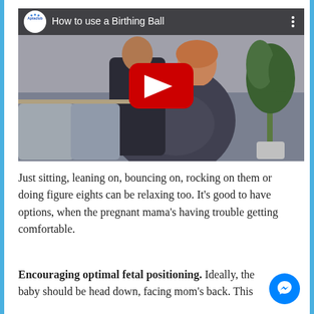[Figure (screenshot): YouTube video thumbnail for 'How to use a Birthing Ball' by Aptaclub, showing a pregnant woman sitting and being massaged, with a red YouTube play button overlaid]
Just sitting, leaning on, bouncing on, rocking on them or doing figure eights can be relaxing too. It's good to have options, when the pregnant mama's having trouble getting comfortable.
Encouraging optimal fetal positioning. Ideally, the baby should be head down, facing mom's back. This